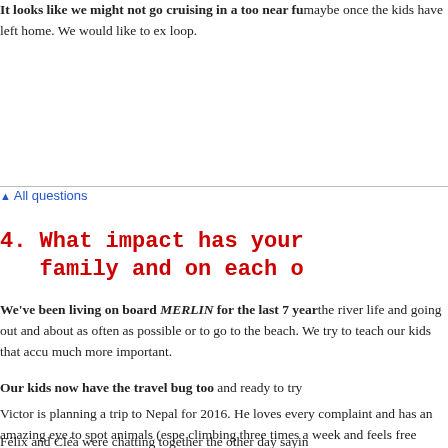It looks like we might not go cruising in a too near fu maybe once the kids have left home. We would like to ex loop.
▲ All questions
4. What impact has your family and on each o
We've been living on board MERLIN for the last 7 year the river life and going out and about as often as possible or to go to the beach. We try to teach our kids that accu much more important.
Our kids now have the travel bug too and ready to try
Victor is planning a trip to Nepal for 2016. He loves every complaint and has an amazing eye to spot animals (espe climbing three times a week and feels free riding downhil
Félix and Cléa were chatting together the other day sayin
Cruising taught us to travel simply. We try as often ...